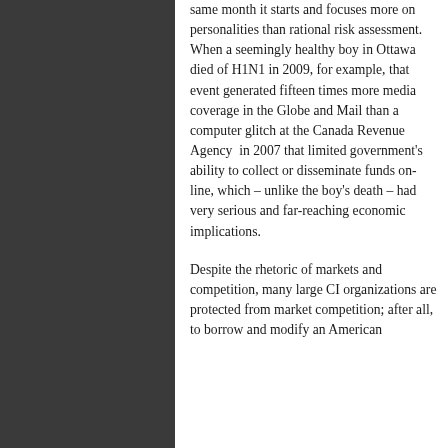same month it starts and focuses more on personalities than rational risk assessment. When a seemingly healthy boy in Ottawa died of H1N1 in 2009, for example, that event generated fifteen times more media coverage in the Globe and Mail than a computer glitch at the Canada Revenue Agency in 2007 that limited government's ability to collect or disseminate funds on-line, which – unlike the boy's death – had very serious and far-reaching economic implications.
Despite the rhetoric of markets and competition, many large CI organizations are protected from market competition; after all, to borrow and modify an American